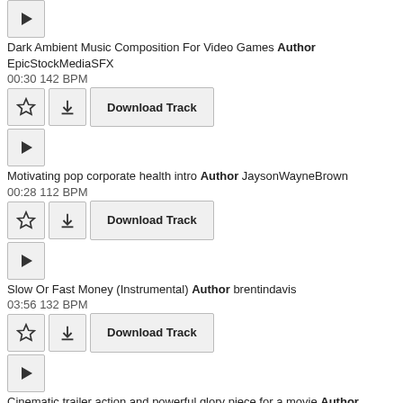Dark Ambient Music Composition For Video Games Author EpicStockMediaSFX
00:30 142 BPM
Motivating pop corporate health intro Author JaysonWayneBrown
00:28 112 BPM
Slow Or Fast Money (Instrumental) Author brentindavis
03:56 132 BPM
Cinematic trailer action and powerful glory piece for a movie Author JaysonWayneBrown
04:25 141 BPM
A happy, quirky and upbeat track with groovy drums, jazzy bass and funky guitars. Can be used for funny commercials, heist movies, comic videos, vlogs and much more. Author mooveka
00:15 148 BPM